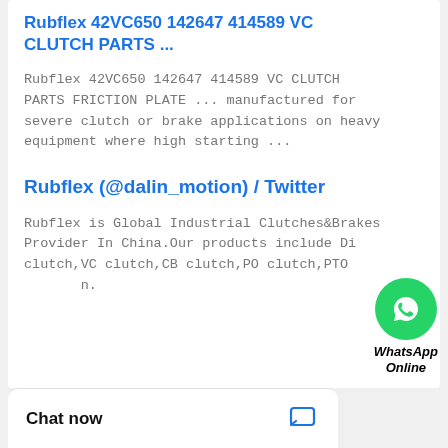Rubflex 42VC650 142647 414589 VC CLUTCH PARTS ...
Rubflex 42VC650 142647 414589 VC CLUTCH PARTS FRICTION PLATE ... manufactured for severe clutch or brake applications on heavy equipment where high starting ...
Rubflex (@dalin_motion) / Twitter
Rubflex is Global Industrial Clutches&Brakes Provider In China.Our products include Di clutch,VC clutch,CB clutch,PO clutch,PTO n.
[Figure (logo): WhatsApp green circle icon with phone handset, labeled WhatsApp Online]
Chat now